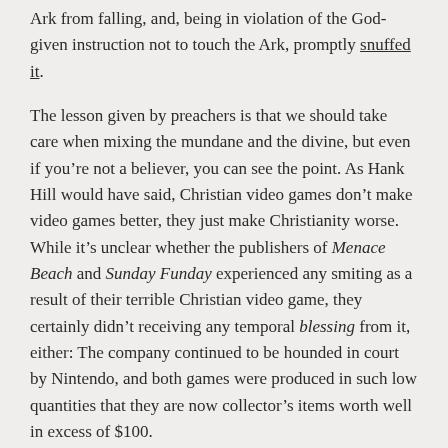Ark from falling, and, being in violation of the God-given instruction not to touch the Ark, promptly snuffed it.
The lesson given by preachers is that we should take care when mixing the mundane and the divine, but even if you’re not a believer, you can see the point. As Hank Hill would have said, Christian video games don’t make video games better, they just make Christianity worse. While it’s unclear whether the publishers of Menace Beach and Sunday Funday experienced any smiting as a result of their terrible Christian video game, they certainly didn’t receiving any temporal blessing from it, either: The company continued to be hounded in court by Nintendo, and both games were produced in such low quantities that they are now collector’s items worth well in excess of $100.
And now you know the story of Sunday Funday and the Philistine Cart.
Posted in Uncategorized